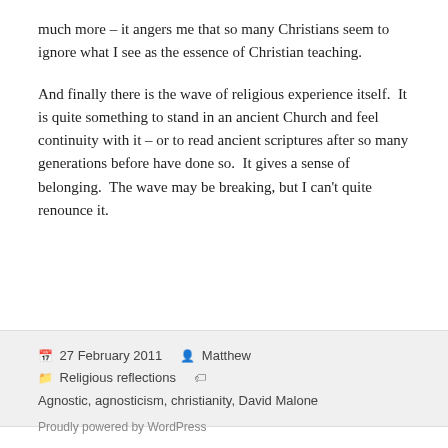much more – it angers me that so many Christians seem to ignore what I see as the essence of Christian teaching.
And finally there is the wave of religious experience itself.  It is quite something to stand in an ancient Church and feel continuity with it – or to read ancient scriptures after so many generations before have done so.  It gives a sense of belonging.  The wave may be breaking, but I can't quite renounce it.
27 February 2011   Matthew   Religious reflections   Agnostic, agnosticism, christianity, David Malone
Proudly powered by WordPress